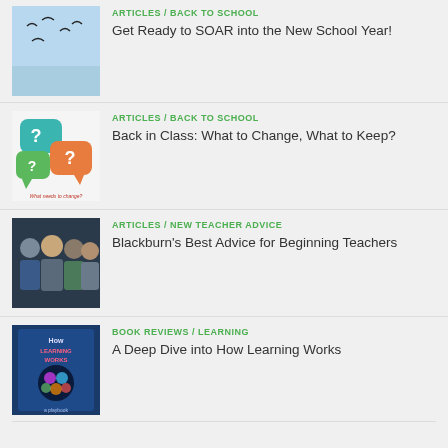[Figure (photo): Birds flying against a light blue sky]
ARTICLES / BACK TO SCHOOL
Get Ready to SOAR into the New School Year!
[Figure (illustration): Colorful speech bubbles with question marks and text 'What needs to change?']
ARTICLES / BACK TO SCHOOL
Back in Class: What to Change, What to Keep?
[Figure (photo): Group of four teachers/professionals posing together]
ARTICLES / NEW TEACHER ADVICE
Blackburn's Best Advice for Beginning Teachers
[Figure (photo): Book cover: 'How Learning Works: A Playbook']
BOOK REVIEWS / LEARNING
A Deep Dive into How Learning Works
SIGN UP & RECEIVE THE LATEST NEWS ABOUT OUR